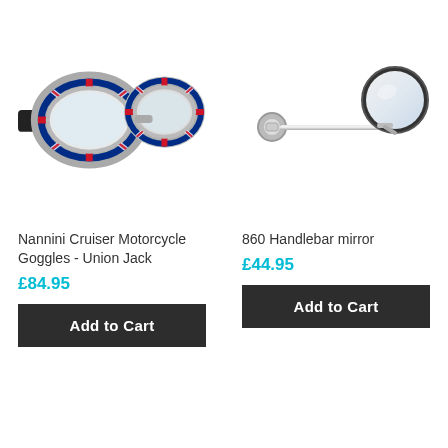[Figure (photo): Nannini Cruiser motorcycle goggles with Union Jack pattern (red, white, blue) and chrome frame on white background]
[Figure (photo): 860 handlebar mirror - chrome bar with round circular mirror on white background]
Nannini Cruiser Motorcycle Goggles - Union Jack
860 Handlebar mirror
£84.95
£44.95
Add to Cart
Add to Cart